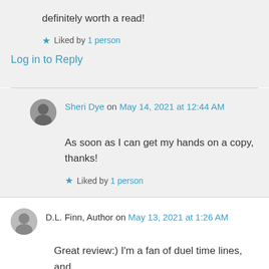definitely worth a read!
★ Liked by 1 person
Log in to Reply
Sheri Dye on May 14, 2021 at 12:44 AM
As soon as I can get my hands on a copy, thanks!
★ Liked by 1 person
D.L. Finn, Author on May 13, 2021 at 1:26 AM
Great review:) I'm a fan of duel time lines, and